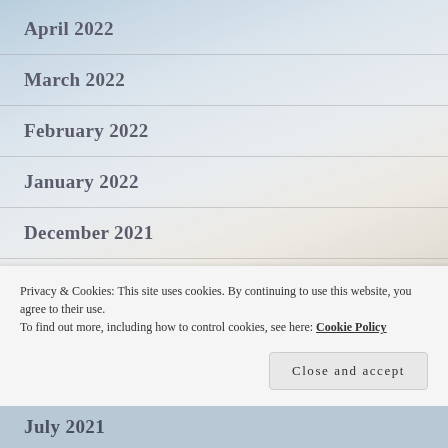April 2022
March 2022
February 2022
January 2022
December 2021
November 2021
Privacy & Cookies: This site uses cookies. By continuing to use this website, you agree to their use.
To find out more, including how to control cookies, see here: Cookie Policy
July 2021